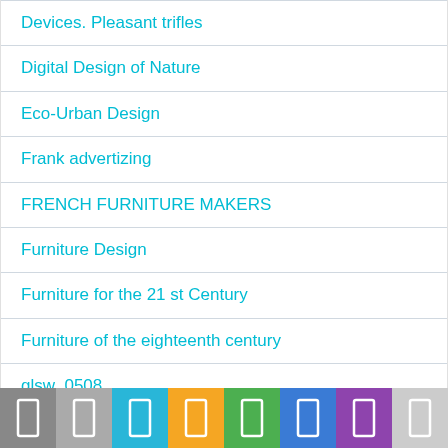Devices. Pleasant trifles
Digital Design of Nature
Eco-Urban Design
Frank advertizing
FRENCH FURNITURE MAKERS
Furniture Design
Furniture for the 21 st Century
Furniture of the eighteenth century
glsw_0508
Guest Room Bathroom
Home Landscape Design
HORIZONS
HORTICULTURE